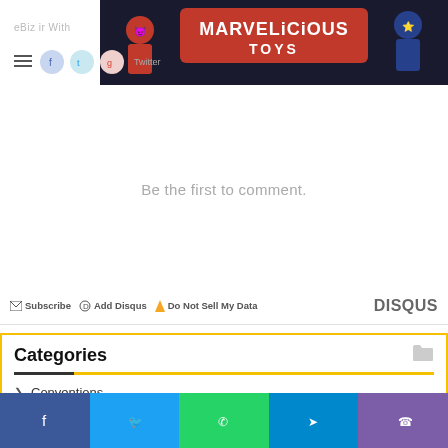[Figure (illustration): Marvelicious Toys banner with Deadpool and Cyclops characters, red background with white text]
Subscribe | Add Disqus | Do Not Sell My Data | DISQUS
Be the first to comment.
Subscribe  Add Disqus  Do Not Sell My Data  DISQUS
Categories
Conventions